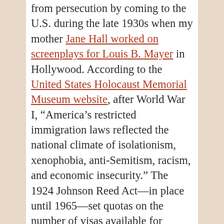from persecution by coming to the U.S. during the late 1930s when my mother Jane Hall worked on screenplays for Louis B. Mayer in Hollywood. According to the United States Holocaust Memorial Museum website, after World War I, “America’s restricted immigration laws reflected the national climate of isolationism, xenophobia, anti-Semitism, racism, and economic insecurity.” The 1924 Johnson Reed Act—in place until 1965—set quotas on the number of visas available for specific countries. “The quotas were calculated to privilege ‘desirable’ immigrants from Northern and Western Europe. They limited immigrants considered less ‘racially desirable,’ including southern and eastern European Jews. Many people born in Asia and Africa were barred from